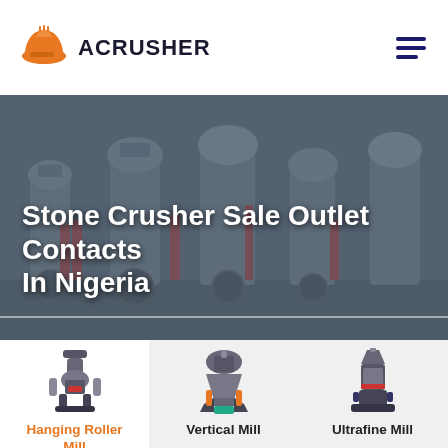[Figure (logo): ACrusher logo with orange hard-hat icon and text ACRUSHER]
[Figure (photo): Factory floor showing industrial stone crushing machinery in a manufacturing plant]
Stone Crusher Sale Outlet Contacts In Nigeria
[Figure (illustration): Hanging Roller Mill machine product image]
Hanging Roller Mill
[Figure (illustration): Vertical Mill machine product image]
Vertical Mill
[Figure (illustration): Ultrafine Mill machine product image]
Ultrafine Mill